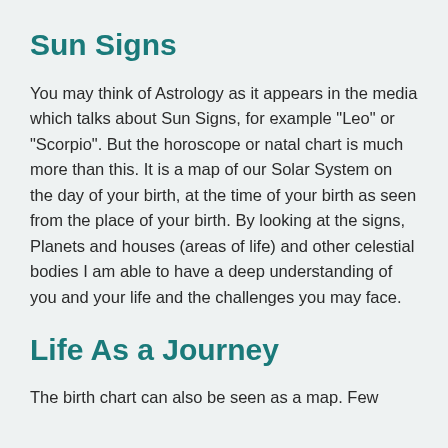Sun Signs
You may think of Astrology as it appears in the media which talks about Sun Signs, for example "Leo" or "Scorpio". But the horoscope or natal chart is much more than this. It is a map of our Solar System on the day of your birth, at the time of your birth as seen from the place of your birth. By looking at the signs, Planets and houses (areas of life) and other celestial bodies I am able to have a deep understanding of you and your life and the challenges you may face.
Life As a Journey
The birth chart can also be seen as a map. Few